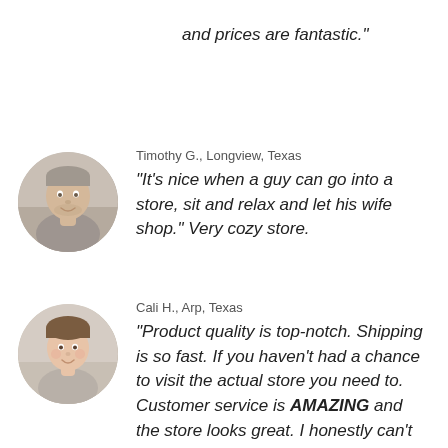and prices are fantastic."
Timothy G., Longview, Texas
"It's nice when a guy can go into a store, sit and relax and let his wife shop." Very cozy store.
Cali H., Arp, Texas
"Product quality is top-notch. Shipping is so fast. If you haven't had a chance to visit the actual store you need to. Customer service is AMAZING and the store looks great. I honestly can't recommend them enough."